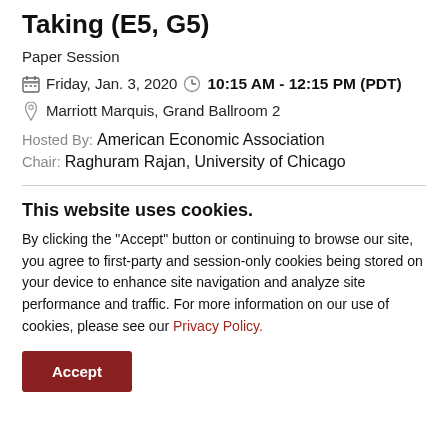Taking (E5, G5)
Paper Session
Friday, Jan. 3, 2020  10:15 AM - 12:15 PM (PDT)
Marriott Marquis, Grand Ballroom 2
Hosted By: American Economic Association
Chair: Raghuram Rajan, University of Chicago
Search and Matching in Education
This website uses cookies.
By clicking the "Accept" button or continuing to browse our site, you agree to first-party and session-only cookies being stored on your device to enhance site navigation and analyze site performance and traffic. For more information on our use of cookies, please see our Privacy Policy.
Accept